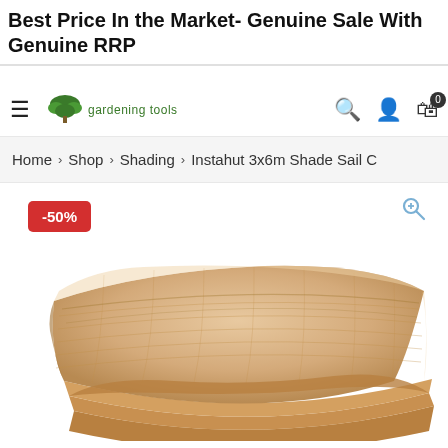Best Price In the Market- Genuine Sale With Genuine RRP
[Figure (screenshot): E-commerce website navigation bar with hamburger menu, gardening tools logo with tree icon, search icon, user icon, and cart icon showing 0 items]
Home > Shop > Shading > Instahut 3x6m Shade Sail C
[Figure (photo): Folded beige/tan shade sail netting fabric product photo with -50% discount badge in red and zoom icon in top right corner]